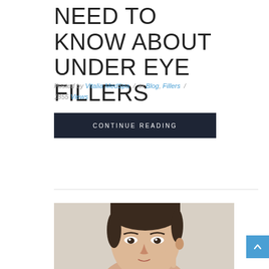NEED TO KNOW ABOUT UNDER EYE FILLERS
Posted by Vitalia MedSpa / in Blog, Fillers / 1855 Views
CONTINUE READING
[Figure (photo): Close-up portrait of a young Asian woman with neat hair touching her face, on a light background]
[Figure (other): Blue scroll-to-top button with upward chevron arrow]